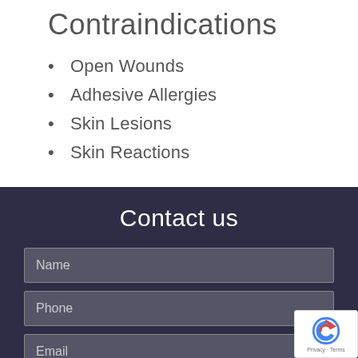Contraindications
Open Wounds
Adhesive Allergies
Skin Lesions
Skin Reactions
Contact us
Name
Phone
Email
Select location...